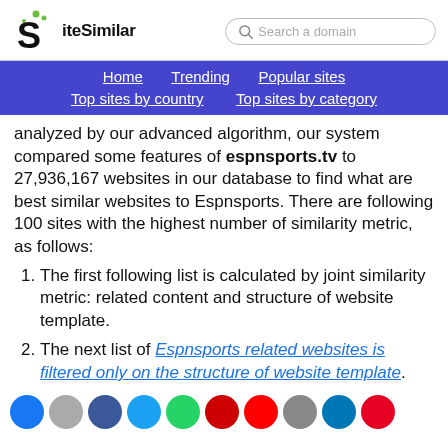SiteSimilar — Search a domain
Home | Trending | Popular sites | Top sites by country | Top sites by category
analyzed by our advanced algorithm, our system compared some features of espnsports.tv to 27,936,167 websites in our database to find what are best similar websites to Espnsports. There are following 100 sites with the highest number of similarity metric, as follows:
The first following list is calculated by joint similarity metric: related content and structure of website template.
The next list of Espnsports related websites is filtered only on the structure of website template.